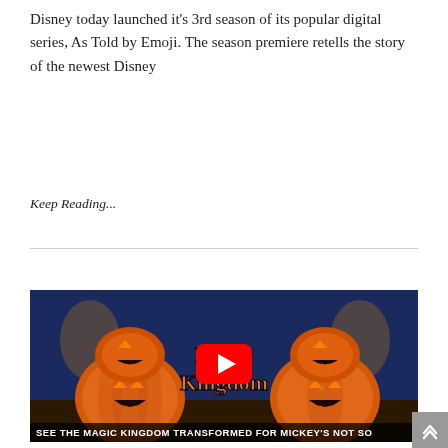Disney today launched it's 3rd season of its popular digital series, As Told by Emoji. The season premiere retells the story of the newest Disney
Keep Reading...
[Figure (screenshot): YouTube video thumbnail for 'See the Magic Kingdom transforma...' showing Jack-o-lantern pumpkins stacked in front of Magic Kingdom at night with Halloween decorations. A red YouTube play button is centered. Bottom bar reads: SEE THE MAGIC KINGDOM TRANSFORMED FOR MICKEY'S NOT SO]